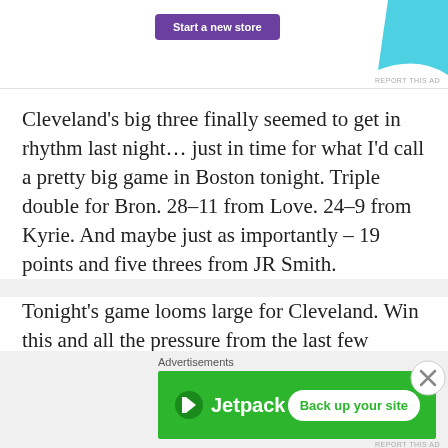[Figure (screenshot): Top advertisement banner with a purple 'Start a new store' button and a teal decorative shape in the upper right corner. Small 'REPORT THIS AD' text at bottom right.]
Cleveland’s big three finally seemed to get in rhythm last night… just in time for what I’d call a pretty big game in Boston tonight. Triple double for Bron. 28-11 from Love. 24-9 from Kyrie. And maybe just as importantly – 19 points and five threes from JR Smith.
Tonight’s game looms large for Cleveland. Win this and all the pressure from the last few
[Figure (screenshot): Bottom advertisement: Jetpack green banner with Jetpack logo and 'Back up your site' white button. 'Advertisements' label above. Close (X) circle button overlapping the right side.]